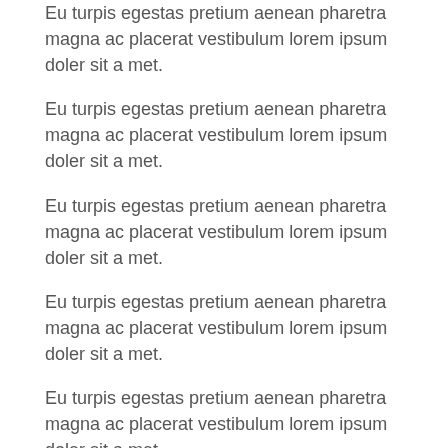Eu turpis egestas pretium aenean pharetra magna ac placerat vestibulum lorem ipsum doler sit a met.
Eu turpis egestas pretium aenean pharetra magna ac placerat vestibulum lorem ipsum doler sit a met.
Eu turpis egestas pretium aenean pharetra magna ac placerat vestibulum lorem ipsum doler sit a met.
Eu turpis egestas pretium aenean pharetra magna ac placerat vestibulum lorem ipsum doler sit a met.
Eu turpis egestas pretium aenean pharetra magna ac placerat vestibulum lorem ipsum doler sit a met.
Lorem Ipsum has been the industry's standard dummy text ever since the 1500s, when an unknown printer took a galley of type and scrambled it to make a type specimen book.
Our Latest News
...